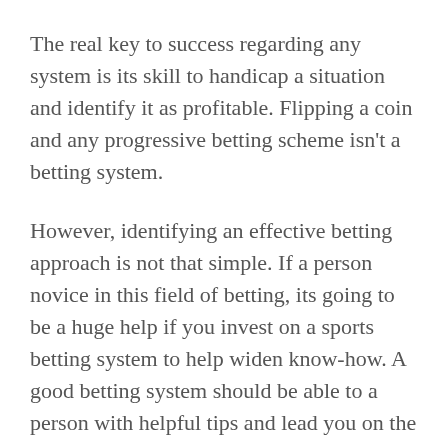The real key to success regarding any system is its skill to handicap a situation and identify it as profitable. Flipping a coin and any progressive betting scheme isn't a betting system.
However, identifying an effective betting approach is not that simple. If a person novice in this field of betting, its going to be a huge help if you invest on a sports betting system to help widen know-how. A good betting system should be able to a person with helpful tips and lead you on the right track. This way, you will be placement to know how to identify total bet.
If are generally betting on the team sport you will